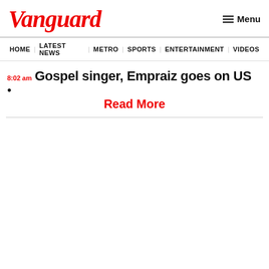Vanguard
Menu
HOME | LATEST NEWS | METRO | SPORTS | ENTERTAINMENT | VIDEOS
8:02 am  Gospel singer, Empraiz goes on US
Read More